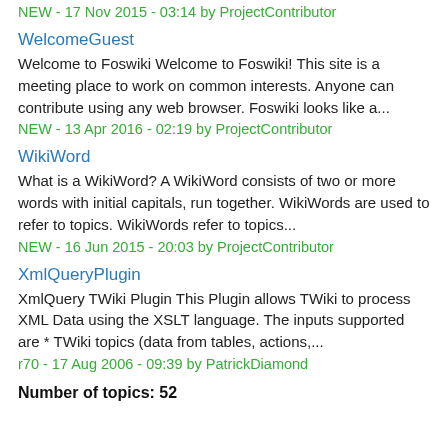NEW - 17 Nov 2015 - 03:14 by ProjectContributor
WelcomeGuest
Welcome to Foswiki Welcome to Foswiki! This site is a meeting place to work on common interests. Anyone can contribute using any web browser. Foswiki looks like a...
NEW - 13 Apr 2016 - 02:19 by ProjectContributor
WikiWord
What is a WikiWord? A WikiWord consists of two or more words with initial capitals, run together. WikiWords are used to refer to topics. WikiWords refer to topics...
NEW - 16 Jun 2015 - 20:03 by ProjectContributor
XmlQueryPlugin
XmlQuery TWiki Plugin This Plugin allows TWiki to process XML Data using the XSLT language. The inputs supported are * TWiki topics (data from tables, actions,...
r70 - 17 Aug 2006 - 09:39 by PatrickDiamond
Number of topics: 52